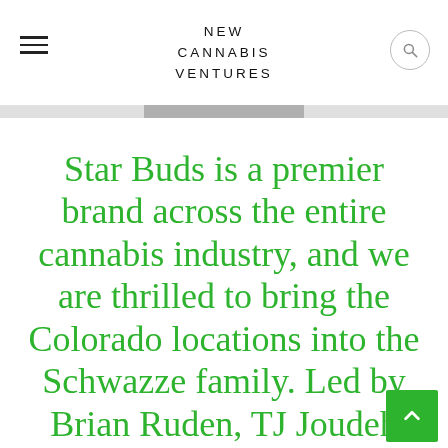NEW CANNABIS VENTURES
Star Buds is a premier brand across the entire cannabis industry, and we are thrilled to bring the Colorado locations into the Schwazze family. Led by Brian Ruden, TJ Joudeh and their partners, Star Buds has built a respected, innovative, and trusted